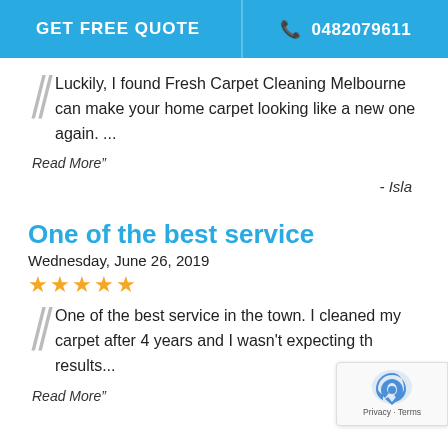GET FREE QUOTE   ☎ 0482079611
Luckily, I found Fresh Carpet Cleaning Melbourne can make your home carpet looking like a new one again. ...
Read More"
- Isla
One of the best service
Wednesday, June 26, 2019
★★★★★
One of the best service in the town. I cleaned my carpet after 4 years and I wasn't expecting the results...
Read More"